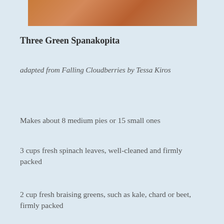[Figure (photo): Partial photo strip at top showing baked spanakopita pastry, golden-brown color]
Three Green Spanakopita
adapted from Falling Cloudberries by Tessa Kiros
Makes about 8 medium pies or 15 small ones
3 cups fresh spinach leaves, well-cleaned and firmly packed
2 cup fresh braising greens, such as kale, chard or beet, firmly packed